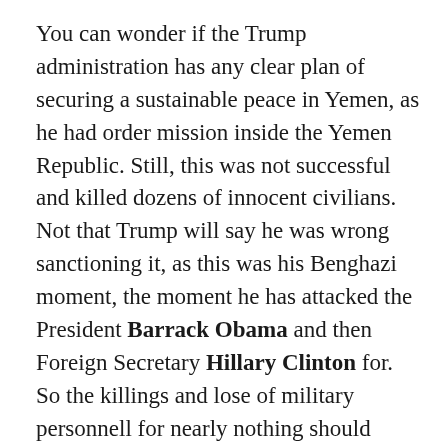You can wonder if the Trump administration has any clear plan of securing a sustainable peace in Yemen, as he had order mission inside the Yemen Republic. Still, this was not successful and killed dozens of innocent civilians. Not that Trump will say he was wrong sanctioning it, as this was his Benghazi moment, the moment he has attacked the President Barrack Obama and then Foreign Secretary Hillary Clinton for. So the killings and lose of military personnell for nearly nothing should worry Trump, but it doesn't because he is either playing golf, eating food or watching Fox. Such a gentleman who orders with thinking what effects it may cause. So he should himself drink a can of